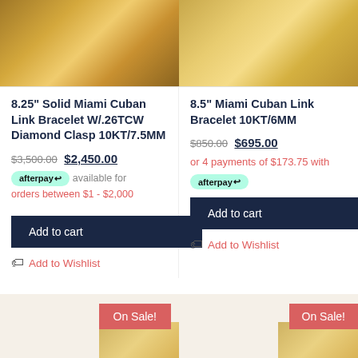[Figure (photo): Top portion of gold chain bracelet product photo (left)]
[Figure (photo): Top portion of gold chain bracelet product photo (right)]
8.25" Solid Miami Cuban Link Bracelet W/.26TCW Diamond Clasp 10KT/7.5MM
$3,500.00 $2,450.00
afterpay available for orders between $1 - $2,000
Add to cart
Add to Wishlist
8.5" Miami Cuban Link Bracelet 10KT/6MM
$850.00 $695.00
or 4 payments of $173.75 with afterpay
Add to cart
Add to Wishlist
[Figure (photo): Bottom product image (left) with On Sale! badge]
[Figure (photo): Bottom product image (right) with On Sale! badge]